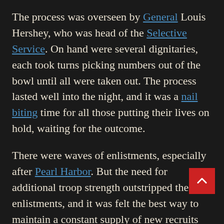The process was overseen by General Louis Hershey, who was head of the Selective Service. On hand were several dignitaries, each took turns picking numbers out of the bowl until all were taken out. The process lasted well into the night, and it was a nail biting time for all those putting their lives on hold, waiting for the outcome.
There were waves of enlistments, especially after Pearl Harbor. But the need for additional troop strength outstripped the enlistments, and it was felt the best way to maintain a constant supply of new recruits was to enlist the lottery method. Not everyone was drafted – those who weren't were obliged to do war work or enlist on